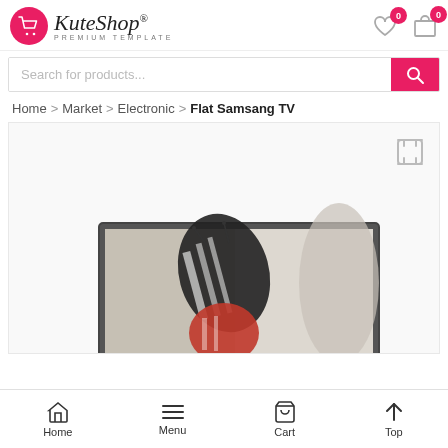KuteShop® PREMIUM TEMPLATE — 0 wishlist, 0 cart
Search for products...
Home > Market > Electronic > Flat Samsang TV
[Figure (screenshot): Product image area showing a flat Samsung TV with a butterfly graphic on screen, partially visible. Expand/fullscreen icon in top-right corner.]
Home | Menu | Cart | Top